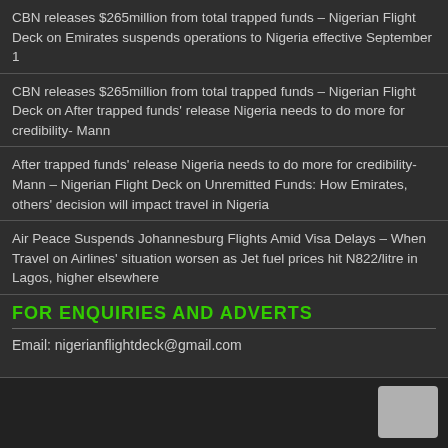CBN releases $265million from total trapped funds – Nigerian Flight Deck on Emirates suspends operations to Nigeria effective September 1
CBN releases $265million from total trapped funds – Nigerian Flight Deck on After trapped funds' release Nigeria needs to do more for credibility- Mann
After trapped funds' release Nigeria needs to do more for credibility- Mann – Nigerian Flight Deck on Unremitted Funds: How Emirates, others' decision will impact travel in Nigeria
Air Peace Suspends Johannesburg Flights Amid Visa Delays – When Travel on Airlines' situation worsen as Jet fuel prices hit N822/litre in Lagos, higher elsewhere
FOR ENQUIRIES AND ADVERTS
Email: nigerianflightdeck@gmail.com